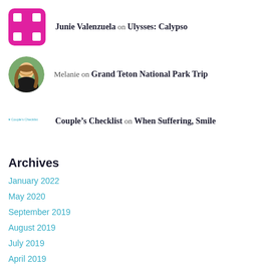Junie Valenzuela on Ulysses: Calypso
Melanie on Grand Teton National Park Trip
Couple's Checklist on When Suffering, Smile
Archives
January 2022
May 2020
September 2019
August 2019
July 2019
April 2019